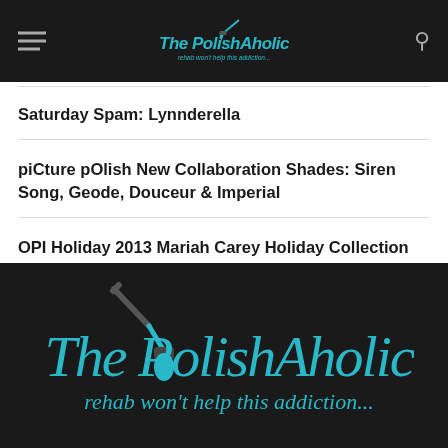The PolishAholic – rehab won't help this addiction...
Saturday Spam: Lynnderella
piCture pOlish New Collaboration Shades: Siren Song, Geode, Douceur & Imperial
OPI Holiday 2013 Mariah Carey Holiday Collection Swatches
Zoya Summer 2012 Beach Collection Swatches
[Figure (logo): The PolishAholic logo in teal on black background with nail brush graphic and tagline 'rehab won't help this addiction...']